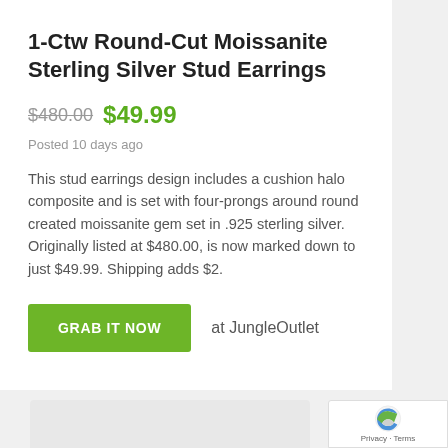1-Ctw Round-Cut Moissanite Sterling Silver Stud Earrings
$480.00  $49.99
Posted 10 days ago
This stud earrings design includes a cushion halo composite and is set with four-prongs around round created moissanite gem set in .925 sterling silver. Originally listed at $480.00, is now marked down to just $49.99. Shipping adds $2.
GRAB IT NOW  at JungleOutlet
[Figure (photo): Partial view of a product image at the bottom of the page, appears to be a white/light colored item on a light background. A reCAPTCHA badge is visible in the bottom right corner with 'Privacy · Terms' text.]